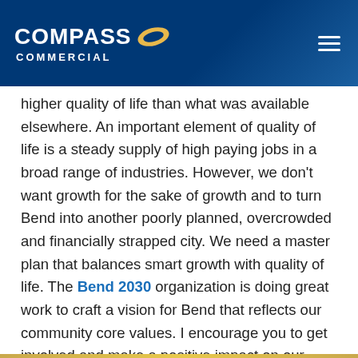Compass Commercial
higher quality of life than what was available elsewhere. An important element of quality of life is a steady supply of high paying jobs in a broad range of industries. However, we don't want growth for the sake of growth and to turn Bend into another poorly planned, overcrowded and financially strapped city. We need a master plan that balances smart growth with quality of life. The Bend 2030 organization is doing great work to craft a vision for Bend that reflects our community core values. I encourage you to get involved and make a positive impact on our future.  Thanks for making Bend the best place to live in the U.S.